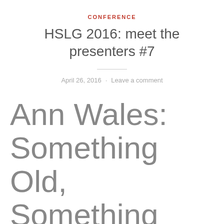CONFERENCE
HSLG 2016: meet the presenters #7
April 26, 2016 · Leave a comment
Ann Wales: Something Old, Something New: Health